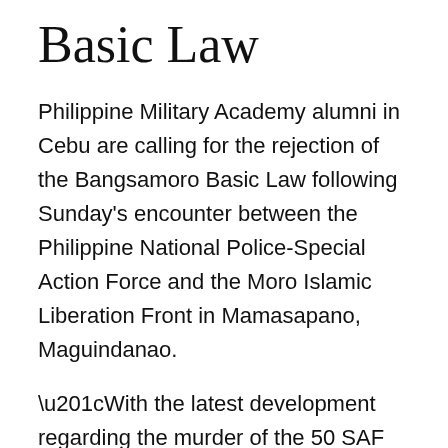Basic Law
Philippine Military Academy alumni in Cebu are calling for the rejection of the Bangsamoro Basic Law following Sunday's encounter between the Philippine National Police-Special Action Force and the Moro Islamic Liberation Front in Mamasapano, Maguindanao.
“With the latest development regarding the murder of the 50 SAF personnel, it is our collective humble opinion that the so-called Bangsamoro Basic Law (BBL) suffers (from) constitutional and legal infirmities and should, thus, be rejected. Otherwise, the worse or worst is yet to come.” — the Philippine Military Academy Cebu Squad